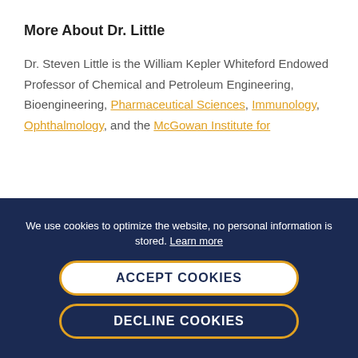More About Dr. Little
Dr. Steven Little is the William Kepler Whiteford Endowed Professor of Chemical and Petroleum Engineering, Bioengineering, Pharmaceutical Sciences, Immunology, Ophthalmology, and the McGowan Institute for
We use cookies to optimize the website, no personal information is stored. Learn more
ACCEPT COOKIES
DECLINE COOKIES